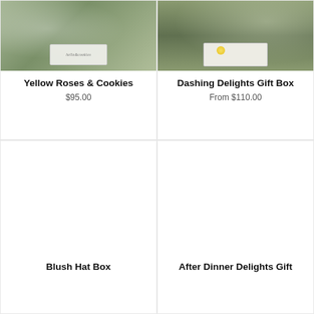[Figure (photo): Product photo of Yellow Roses & Cookies gift box on green background]
Yellow Roses & Cookies
$95.00
[Figure (photo): Product photo of Dashing Delights Gift Box being held open, showing contents with lemon slice]
Dashing Delights Gift Box
From $110.00
[Figure (photo): Product photo of Blush Hat Box - mostly white/blank area]
Blush Hat Box
[Figure (photo): Product photo of After Dinner Delights Gift - mostly white/blank area]
After Dinner Delights Gift